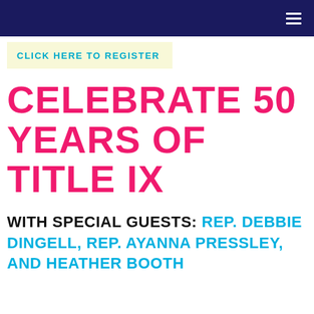CLICK HERE TO REGISTER
CELEBRATE 50 YEARS OF TITLE IX
WITH SPECIAL GUESTS: REP. DEBBIE DINGELL, REP. AYANNA PRESSLEY, AND HEATHER BOOTH